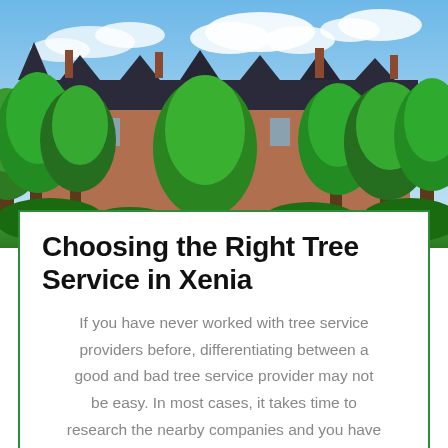[Figure (photo): A large brick building with Gothic architectural features, dark roof with multiple gabled dormers and chimneys, surrounded by lush green trees and manicured lawns under a blue sky with white clouds.]
Choosing the Right Tree Service in Xenia
If you have never worked with tree service providers before, differentiating between a good and bad tree service provider may not be easy. In most cases, it takes time to research the nearby companies and you have to know what to watch out for in order to